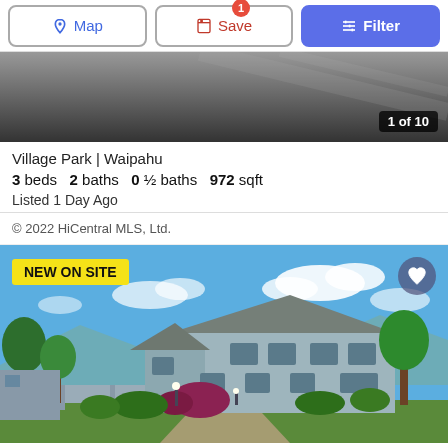[Figure (screenshot): Mobile app toolbar with Map, Save, and Filter buttons]
[Figure (photo): Hero image banner with price $899,000 overlay and 1 of 10 counter on a grey/dark background]
Village Park | Waipahu
3 beds   2 baths   0 ½ baths   972 sqft
Listed 1 Day Ago
© 2022 HiCentral MLS, Ltd.
[Figure (photo): Exterior photo of a two-story grey house in Village Park Waipahu under blue sky with clouds; NEW ON SITE badge in yellow; heart/favorite icon in top right]